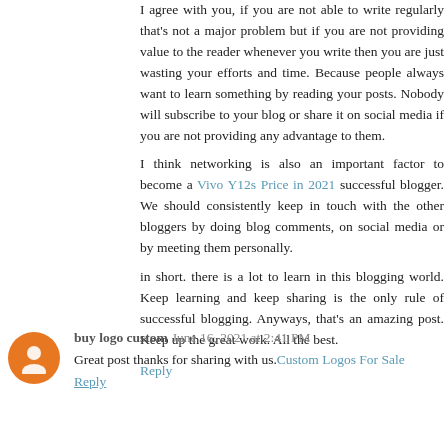I agree with you, if you are not able to write regularly that's not a major problem but if you are not providing value to the reader whenever you write then you are just wasting your efforts and time. Because people always want to learn something by reading your posts. Nobody will subscribe to your blog or share it on social media if you are not providing any advantage to them.
I think networking is also an important factor to become a Vivo Y12s Price in 2021 successful blogger. We should consistently keep in touch with the other bloggers by doing blog comments, on social media or by meeting them personally.
in short. there is a lot to learn in this blogging world. Keep learning and keep sharing is the only rule of successful blogging. Anyways, that's an amazing post. Keep up the great work. All the best.
Reply
buy logo custom  June 16, 2021 at 2:41 PM
Great post thanks for sharing with us.Custom Logos For Sale
Reply